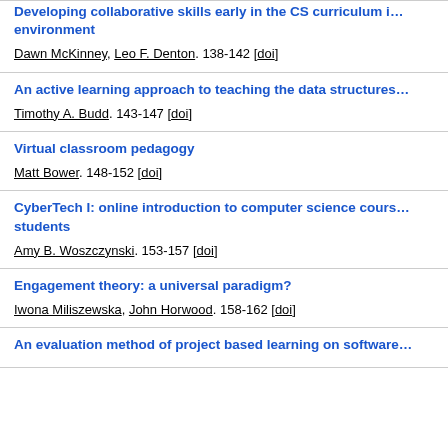Developing collaborative skills early in the CS curriculum i... environment — Dawn McKinney, Leo F. Denton. 138-142 [doi]
An active learning approach to teaching the data structures... — Timothy A. Budd. 143-147 [doi]
Virtual classroom pedagogy — Matt Bower. 148-152 [doi]
CyberTech I: online introduction to computer science cours... students — Amy B. Woszczynski. 153-157 [doi]
Engagement theory: a universal paradigm? — Iwona Miliszewska, John Horwood. 158-162 [doi]
An evaluation method of project based learning on software...